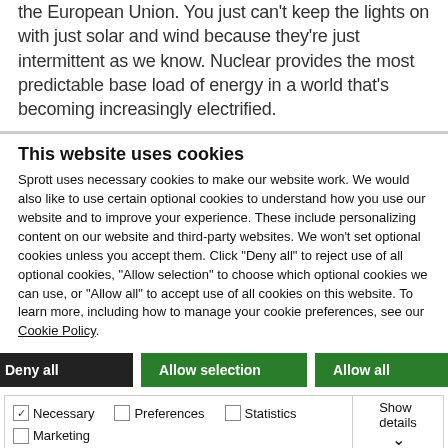the European Union. You just can't keep the lights on with just solar and wind because they're just intermittent as we know. Nuclear provides the most predictable base load of energy in a world that's becoming increasingly electrified.
This website uses cookies
Sprott uses necessary cookies to make our website work. We would also like to use certain optional cookies to understand how you use our website and to improve your experience. These include personalizing content on our website and third-party websites. We won't set optional cookies unless you accept them. Click "Deny all" to reject use of all optional cookies, "Allow selection" to choose which optional cookies we can use, or "Allow all" to accept use of all cookies on this website. To learn more, including how to manage your cookie preferences, see our Cookie Policy.
Deny all
Allow selection
Allow all
Necessary [checked], Preferences, Statistics, Marketing, Show details